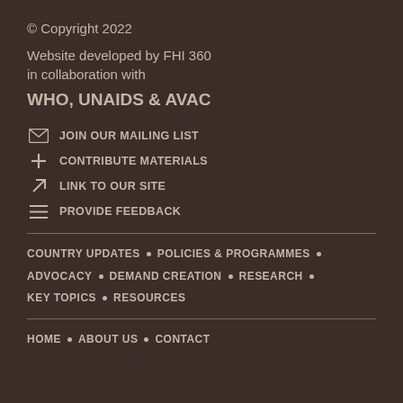© Copyright 2022
Website developed by FHI 360 in collaboration with
WHO, UNAIDS & AVAC
JOIN OUR MAILING LIST
CONTRIBUTE MATERIALS
LINK TO OUR SITE
PROVIDE FEEDBACK
COUNTRY UPDATES • POLICIES & PROGRAMMES • ADVOCACY • DEMAND CREATION • RESEARCH • KEY TOPICS • RESOURCES
HOME • ABOUT US • CONTACT